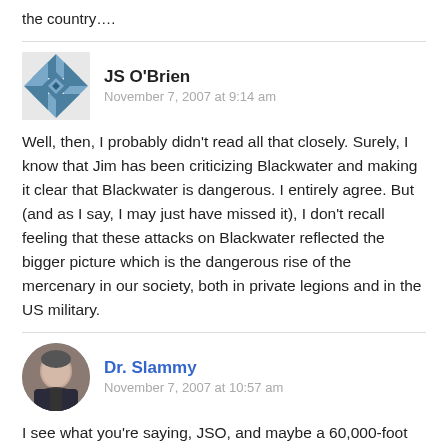the country….
JS O'Brien
November 7, 2007 at 9:14 am
Well, then, I probably didn't read all that closely. Surely, I know that Jim has been criticizing Blackwater and making it clear that Blackwater is dangerous. I entirely agree. But (and as I say, I may just have missed it), I don't recall feeling that these attacks on Blackwater reflected the bigger picture which is the dangerous rise of the mercenary in our society, both in private legions and in the US military.
Dr. Slammy
November 7, 2007 at 10:57 am
I see what you're saying, JSO, and maybe a 60,000-foot piece of this sort is called for. It's true that the coverage here has been on the bottom-up side.